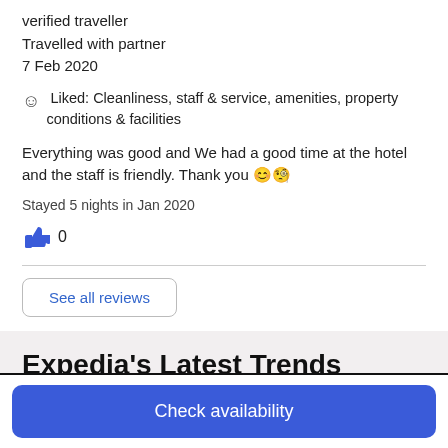verified traveller
Travelled with partner
7 Feb 2020
Liked: Cleanliness, staff & service, amenities, property conditions & facilities
Everything was good and We had a good time at the hotel and the staff is friendly. Thank you 😊🙂
Stayed 5 nights in Jan 2020
👍 0
See all reviews
Expedia's Latest Trends
Check availability